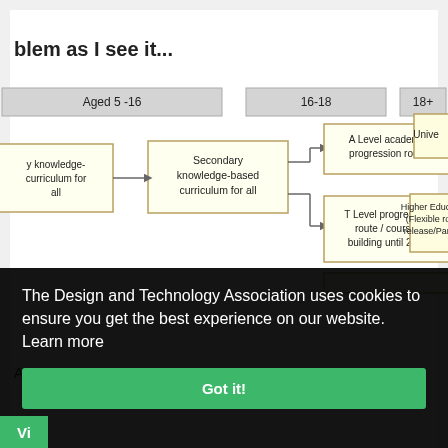…blem as I see it…
[Figure (flowchart): Flowchart showing education progression routes by age group: Aged 5-16 (primary knowledge-based curriculum for all, secondary knowledge-based curriculum for all), 16-18 (A Level academic progression route, T Level progression route/courses building until 2025), 18+ (University, Higher Education flexible routes/day release/Part-time)]
The Design and Technology Association uses cookies to ensure you get the best experience on our website.  Learn more
Got it!